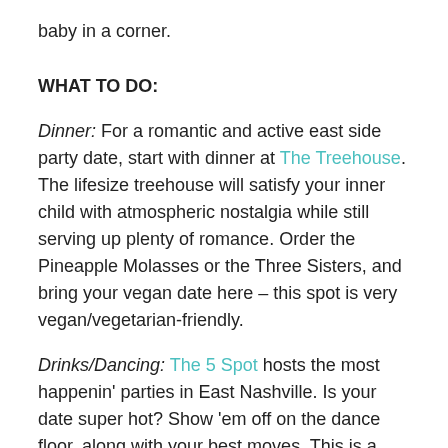baby in a corner.
WHAT TO DO:
Dinner: For a romantic and active east side party date, start with dinner at The Treehouse. The lifesize treehouse will satisfy your inner child with atmospheric nostalgia while still serving up plenty of romance. Order the Pineapple Molasses or the Three Sisters, and bring your vegan date here – this spot is very vegan/vegetarian-friendly.
Drinks/Dancing: The 5 Spot hosts the most happenin' parties in East Nashville. Is your date super hot? Show 'em off on the dance floor, along with your best moves. This is a great choice for a weeknight date – Motown Mondays keep the retro hits coming all night. You won't lose that lovin' feelin.